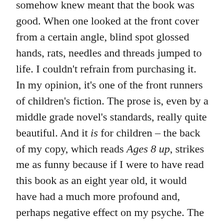somehow knew meant that the book was good. When one looked at the front cover from a certain angle, blind spot glossed hands, rats, needles and threads jumped to life. I couldn't refrain from purchasing it.
In my opinion, it's one of the front runners of children's fiction. The prose is, even by a middle grade novel's standards, really quite beautiful. And it is for children – the back of my copy, which reads Ages 8 up, strikes me as funny because if I were to have read this book as an eight year old, it would have had a much more profound and, perhaps negative effect on my psyche. The book is short (around 40 000 words) and weirdly sophisticated for its audience, with a strong and grim undercurrent of very disturbing themes that sometimes contradict each other (what I got out of reading it was mainly this: sometimes